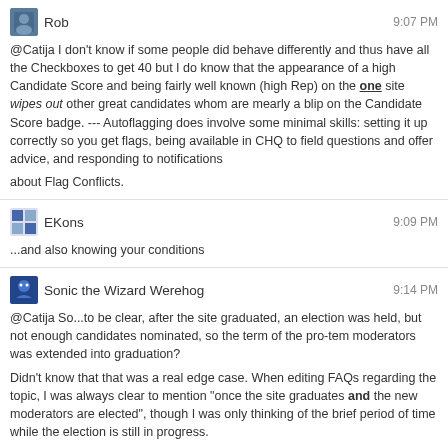Rob 9:07 PM
@Catija I don't know if some people did behave differently and thus have all the Checkboxes to get 40 but I do know that the appearance of a high Candidate Score and being fairly well known (high Rep) on the one site wipes out other great candidates whom are mearly a blip on the Candidate Score badge. --- Autoflagging does involve some minimal skills: setting it up correctly so you get flags, being available in CHQ to field questions and offer advice, and responding to notifications about Flag Conflicts.
EKons 9:09 PM
...and also knowing your conditions
Sonic the Wizard Werehog 9:14 PM
@Catija So...to be clear, after the site graduated, an election was held, but not enough candidates nominated, so the term of the pro-tem moderators was extended into graduation?

Didn't know that that was a real edge case. When editing FAQs regarding the topic, I was always clear to mention "once the site graduates and the new moderators are elected", though I was only thinking of the brief period of time while the election is still in progress.

@Rob It's unlikely (and in some cases not possible) for users who served as pro-tem mods to get some candidate score badges due to their inherent nature, e.g. Deputy and Marshal for flagging posts.

Also, if they spent more time moderating rather than contributing posts, they may have a low rep-based candidate score.
Catija 9:18 PM
@Rob Sure... I mean, if you just need to offer a bounty in order to get another point, seems like an easily-attainable goal.
@SonictheWizardWerehog Yep.